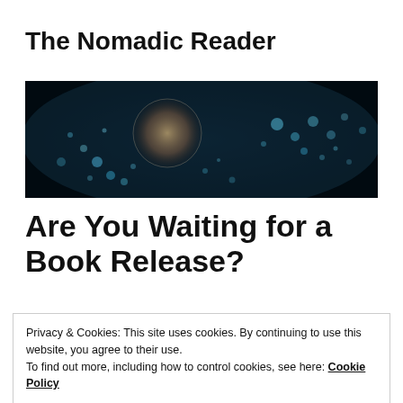The Nomadic Reader
[Figure (photo): Dark banner image showing glowing bokeh bubbles and a jellyfish-like orb against a dark teal/black background]
Are You Waiting for a Book Release?
Privacy & Cookies: This site uses cookies. By continuing to use this website, you agree to their use.
To find out more, including how to control cookies, see here: Cookie Policy
Close and accept